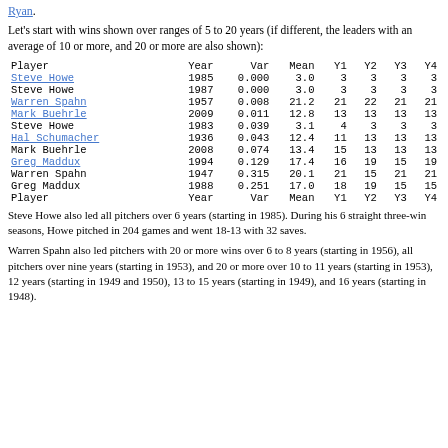Ryan.
Let's start with wins shown over ranges of 5 to 20 years (if different, the leaders with an average of 10 or more, and 20 or more are also shown):
| Player | Year | Var | Mean | Y1 | Y2 | Y3 | Y4 |
| --- | --- | --- | --- | --- | --- | --- | --- |
| Steve Howe | 1985 | 0.000 | 3.0 | 3 | 3 | 3 | 3 |
| Steve Howe | 1987 | 0.000 | 3.0 | 3 | 3 | 3 | 3 |
| Warren Spahn | 1957 | 0.008 | 21.2 | 21 | 22 | 21 | 21 |
| Mark Buehrle | 2009 | 0.011 | 12.8 | 13 | 13 | 13 | 13 |
| Steve Howe | 1983 | 0.039 | 3.1 | 4 | 3 | 3 | 3 |
| Hal Schumacher | 1936 | 0.043 | 12.4 | 11 | 13 | 13 | 13 |
| Mark Buehrle | 2008 | 0.074 | 13.4 | 15 | 13 | 13 | 13 |
| Greg Maddux | 1994 | 0.129 | 17.4 | 16 | 19 | 15 | 19 |
| Warren Spahn | 1947 | 0.315 | 20.1 | 21 | 15 | 21 | 21 |
| Greg Maddux | 1988 | 0.251 | 17.0 | 18 | 19 | 15 | 15 |
Steve Howe also led all pitchers over 6 years (starting in 1985). During his 6 straight three-win seasons, Howe pitched in 204 games and went 18-13 with 32 saves.
Warren Spahn also led pitchers with 20 or more wins over 6 to 8 years (starting in 1956), all pitchers over nine years (starting in 1953), and 20 or more over 10 to 11 years (starting in 1953), 12 years (starting in 1949 and 1950), 13 to 15 years (starting in 1949), and 16 years (starting in 1948).